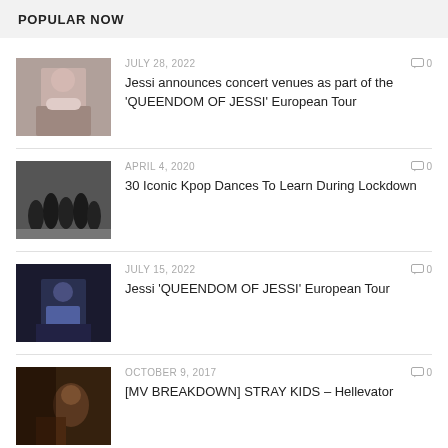POPULAR NOW
[Figure (photo): Portrait of Jessi sitting against a wall]
JULY 28, 2022   0
Jessi announces concert venues as part of the 'QUEENDOM OF JESSI' European Tour
[Figure (photo): Silhouettes of dancers performing]
APRIL 4, 2020   0
30 Iconic Kpop Dances To Learn During Lockdown
[Figure (photo): Jessi in a blue jacket in a dark setting]
JULY 15, 2022   0
Jessi 'QUEENDOM OF JESSI' European Tour
[Figure (photo): Stray Kids group photo with a member in focus]
OCTOBER 9, 2017   0
[MV BREAKDOWN] STRAY KIDS – Hellevator